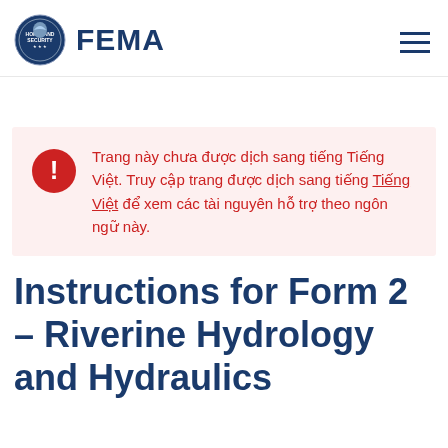FEMA
Trang này chưa được dịch sang tiếng Tiếng Việt. Truy cập trang được dịch sang tiếng Tiếng Việt để xem các tài nguyên hỗ trợ theo ngôn ngữ này.
Instructions for Form 2 - Riverine Hydrology and Hydraulics